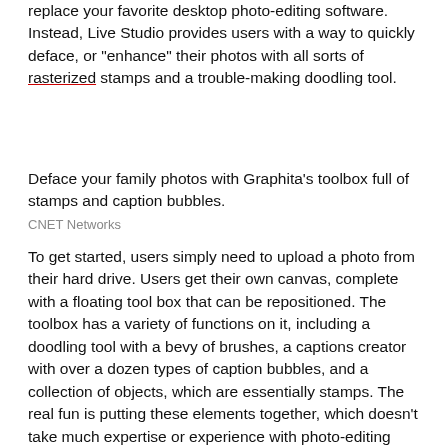replace your favorite desktop photo-editing software. Instead, Live Studio provides users with a way to quickly deface, or "enhance" their photos with all sorts of rasterized stamps and a trouble-making doodling tool.
Deface your family photos with Graphita's toolbox full of stamps and caption bubbles.
CNET Networks
To get started, users simply need to upload a photo from their hard drive. Users get their own canvas, complete with a floating tool box that can be repositioned. The toolbox has a variety of functions on it, including a doodling tool with a bevy of brushes, a captions creator with over a dozen types of caption bubbles, and a collection of objects, which are essentially stamps. The real fun is putting these elements together, which doesn't take much expertise or experience with photo-editing tools.